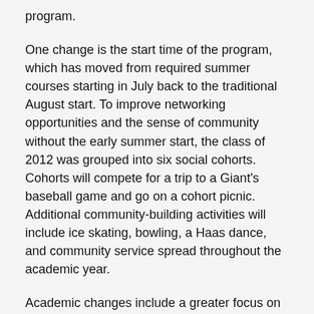program.
One change is the start time of the program, which has moved from required summer courses starting in July back to the traditional August start. To improve networking opportunities and the sense of community without the early summer start, the class of 2012 was grouped into six social cohorts. Cohorts will compete for a trip to a Giant's baseball game and go on a cohort picnic. Additional community-building activities will include ice skating, bowling, a Haas dance, and community service spread throughout the academic year.
Academic changes include a greater focus on experiential learning. The very popular no-credit workshops, such as those offered by Training the Street, have been expanded thanks to a tripling of funds from the Dean's office.
“We will offer a menu of competency-specific paths to